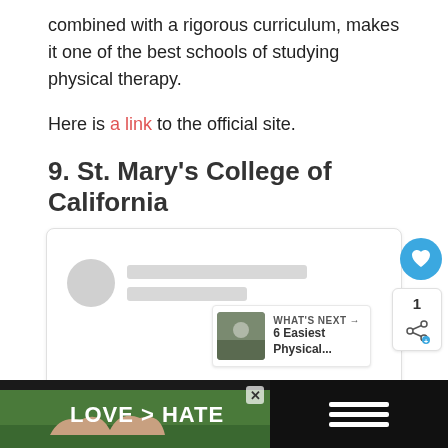combined with a rigorous curriculum, makes it one of the best schools of studying physical therapy.
Here is a link to the official site.
9. St. Mary's College of California
[Figure (screenshot): Social media widget showing a profile placeholder with avatar circle and name bars, share count of 1, heart/like button, share button, and a 'What's Next' panel showing '6 Easiest Physical...']
[Figure (photo): Advertisement banner with dark background showing hands making a heart shape and text 'LOVE > HATE']